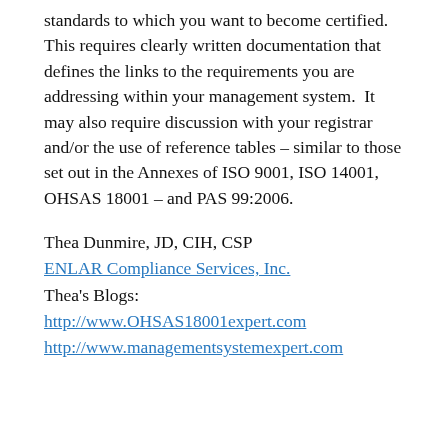standards to which you want to become certified.  This requires clearly written documentation that defines the links to the requirements you are addressing within your management system.  It may also require discussion with your registrar and/or the use of reference tables – similar to those set out in the Annexes of ISO 9001, ISO 14001, OHSAS 18001 – and PAS 99:2006.
Thea Dunmire, JD, CIH, CSP
ENLAR Compliance Services, Inc.
Thea's Blogs:
http://www.OHSAS18001expert.com
http://www.managementsystemexpert.com